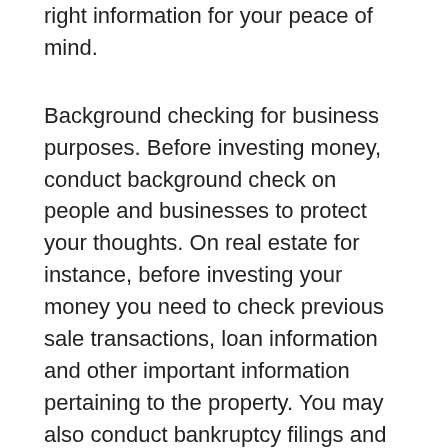right information for your peace of mind.
Background checking for business purposes. Before investing money, conduct background check on people and businesses to protect your thoughts. On real estate for instance, before investing your money you need to check previous sale transactions, loan information and other important information pertaining to the property. You may also conduct bankruptcy filings and liens on any company before doing any business with them preserve your investment.
These are just few of numerous reasons why you've to to conduct criminal history check on someone. Nevertheless, you have to keep in mind that public information are accessible in order to protect yourself and your loved ones but not to cause harm to other consumers. A comprehensive, accurate background